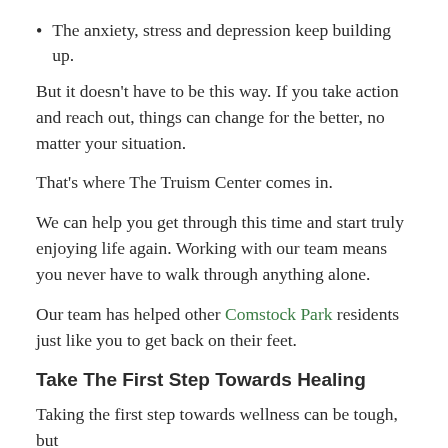The anxiety, stress and depression keep building up.
But it doesn’t have to be this way. If you take action and reach out, things can change for the better, no matter your situation.
That’s where The Truism Center comes in.
We can help you get through this time and start truly enjoying life again. Working with our team means you never have to walk through anything alone.
Our team has helped other Comstock Park residents just like you to get back on their feet.
Take The First Step Towards Healing
Taking the first step towards wellness can be tough, but